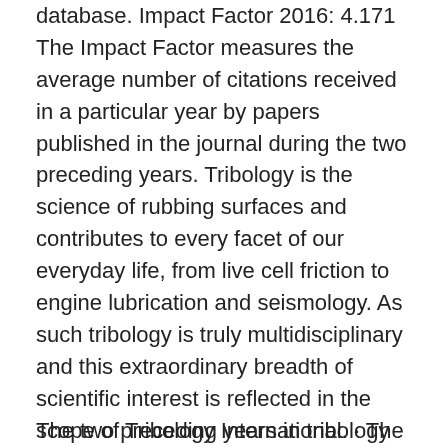database. Impact Factor 2016: 4.171 The Impact Factor measures the average number of citations received in a particular year by papers published in the journal during the two preceding years. Tribology is the science of rubbing surfaces and contributes to every facet of our everyday life, from live cell friction to engine lubrication and seismology. As such tribology is truly multidisciplinary and this extraordinary breadth of scientific interest is reflected in the scope of Tribology International. · The 2016-2017 Journal Impact IF of Tribology International is 2.903 Tribology International Key Factor Analysis Tribology International Impact Factor 4.07, IF, number of citations, detailed analysis and journal factor.
The two preceding years in tribology and impact...